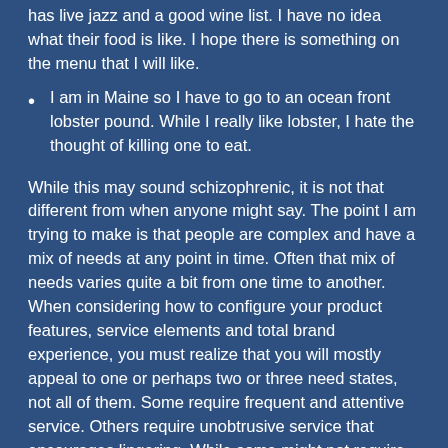has live jazz and a good wine list. I have no idea what their food is like. I hope there is something on the menu that I will like.
I am in Maine so I have to go to an ocean front lobster pound. While I really like lobster, I hate the thought of killing one to eat.
While this may sound schizophrenic, it is not that different from when anyone might say. The point I am trying to make is that people are complex and have a mix of needs at any point in time. Often that mix of needs varies quite a bit from one time to another. When considering how to configure your product features, service elements and total brand experience, you must realize that you will mostly appeal to one or perhaps two or three need states, not all of them. Some require frequent and attentive service. Others require unobtrusive service that encourages lingering. While some might not require much service at all.
I hope this has helped you think about different needs states that your customers might have and what that means for